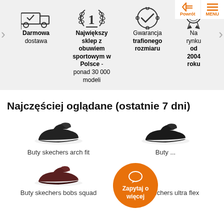[Figure (infographic): Navigation bar with back arrow (Powrót) and menu icon (MENU) in orange]
[Figure (infographic): Truck icon with checkmark representing free delivery (Darmowa dostawa)]
Darmowa dostawa
[Figure (infographic): Number 1 with laurel wreath icon representing biggest sports shoe store]
Największy sklep z obuwiem sportowym w Polsce - ponad 30 000 modeli
[Figure (infographic): Badge with checkmark representing size guarantee (Gwarancja trafionego rozmiaru)]
Gwarancja trafionego rozmiaru
Na rynku od 2004 roku
Najczęściej oglądane (ostatnie 7 dni)
[Figure (photo): Black Skechers arch fit shoe]
Buty skechers arch fit
[Figure (photo): Dark Skechers shoe partially obscured by chat button]
Buty ...
[Figure (photo): Dark red/maroon Skechers bobs squad shoe]
Buty skechers bobs squad
Buty skechers ultra flex
[Figure (infographic): Orange circular chat button with speech bubble icon and text Zapytaj o więcej]